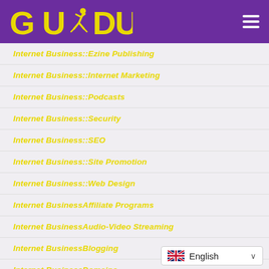[Figure (logo): GUDU logo with running figure, yellow text on purple background]
Internet Business::Ezine Publishing
Internet Business::Internet Marketing
Internet Business::Podcasts
Internet Business::Security
Internet Business::SEO
Internet Business::Site Promotion
Internet Business::Web Design
Internet BusinessAffiliate Programs
Internet BusinessAudio-Video Streaming
Internet BusinessBlogging
Internet BusinessDomains
Internet BusinessEbooks